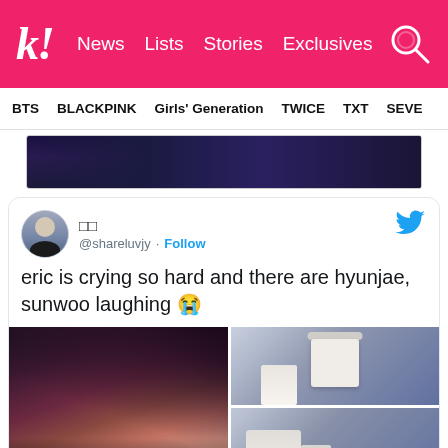k! News Lists Stories Exclusives
BTS BLACKPINK Girls' Generation TWICE TXT SEVE
[Figure (photo): Partial concert performance image showing performers on stage with dark background]
□□ @shareluvjy · Follow - eric is crying so hard and there are hyunjae, sunwoo laughing 😭
[Figure (photo): Collage of concert photos: left - close-up of male idol with highlighted hair appearing emotional; top right - male idol in white t-shirt bowing forward on stage; bottom right - male idol in white t-shirt bending over on stage]